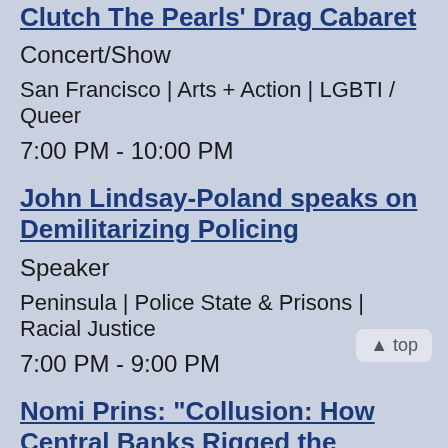Clutch The Pearls' Drag Cabaret
Concert/Show
San Francisco | Arts + Action | LGBTI / Queer
7:00 PM - 10:00 PM
John Lindsay-Poland speaks on Demilitarizing Policing
Speaker
Peninsula | Police State & Prisons | Racial Justice
7:00 PM - 9:00 PM
Nomi Prins: "Collusion: How Central Banks Rigged the World"